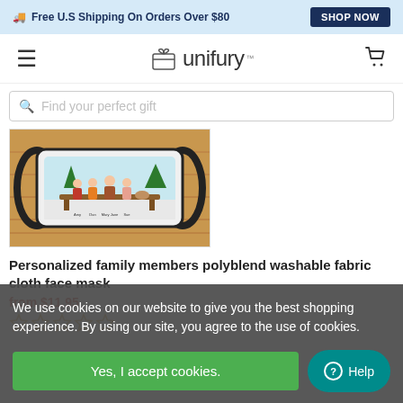🚚 Free U.S Shipping On Orders Over $80 | SHOP NOW
[Figure (logo): Unifury logo with gift box icon and trademark symbol]
Find your perfect gift
[Figure (photo): Personalized family face mask on wooden background showing cartoon family members seated on a bench]
Personalized family members polyblend washable fabric cloth face mask
from $11.95
[Figure (other): Five empty star rating icons in gold/tan color]
We use cookies on our website to give you the best shopping experience. By using our site, you agree to the use of cookies.
Yes, I accept cookies.
⓪ Help